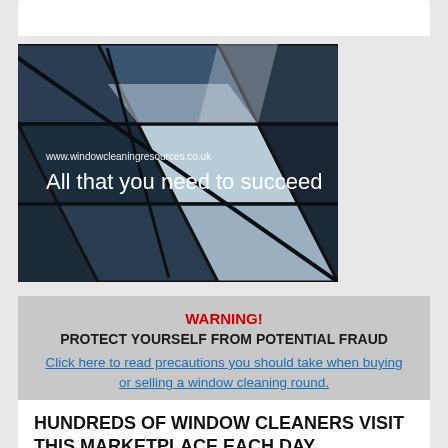[Figure (photo): Glass building facade with reflective windows, diagonal grid pattern. Overlaid text: www.windowcleaningresources.co.uk and 'All that you need to succeed']
WARNING!
PROTECT YOURSELF FROM POTENTIAL FRAUD
Click here to read precautions you should take when buying or selling a window cleaning round.
HUNDREDS OF WINDOW CLEANERS VISIT THIS MARKETPLACE EACH DAY